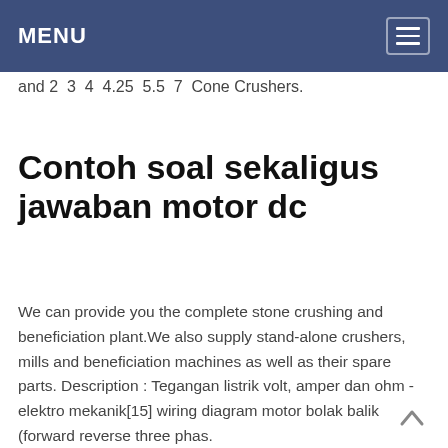MENU
and 2  3  4  4.25  5.5  7  Cone Crushers.
Contoh soal sekaligus jawaban motor dc
We can provide you the complete stone crushing and beneficiation plant.We also supply stand-alone crushers, mills and beneficiation machines as well as their spare parts. Description : Tegangan listrik volt, amper dan ohm - elektro mekanik[15] wiring diagram motor bolak balik (forward reverse three phas.